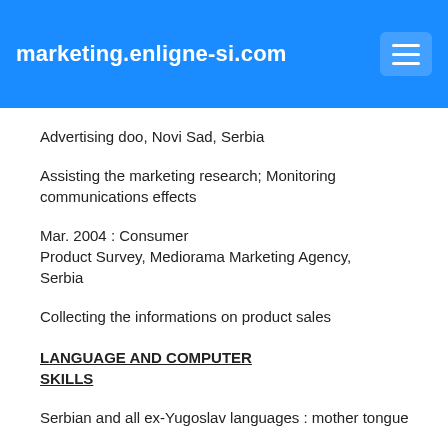marketing.enligne-si.com
Advertising doo, Novi Sad, Serbia
Assisting the marketing research; Monitoring communications effects
Mar. 2004 : Consumer Product Survey, Mediorama Marketing Agency, Serbia
Collecting the informations on product sales
LANGUAGE AND COMPUTER SKILLS
Serbian and all ex-Yugoslav languages : mother tongue